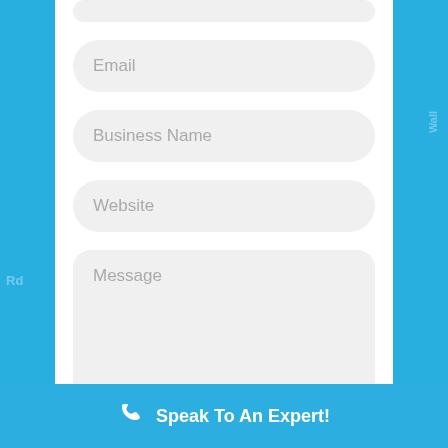[Figure (screenshot): Web contact form with fields for Email, Business Name, Website, Message, a GET STARTED button, and a Speak To An Expert footer bar on a blue background]
Email
Business Name
Website
Message
GET STARTED
Speak To An Expert!